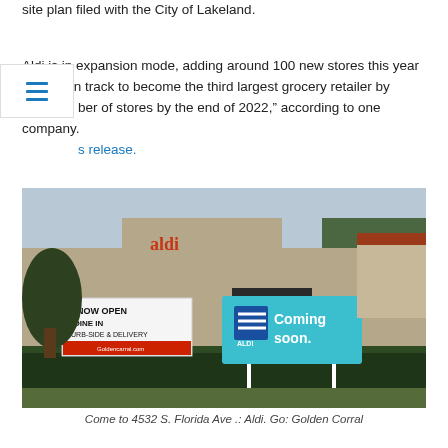site plan filed with the City of Lakeland.
Aldi is in expansion mode, adding around 100 new stores this year and “is on track to become the third largest grocery retailer by number of stores by the end of 2022,” according to one company. s release.
[Figure (photo): Photo of an Aldi 'Coming soon.' sign on a blue background next to a Golden Corral restaurant sign reading 'NOW OPEN DINE IN CURB-SIDE & DELIVERY' at 4532 S. Florida Ave.]
Come to 4532 S. Florida Ave .: Aldi. Go: Golden Corral